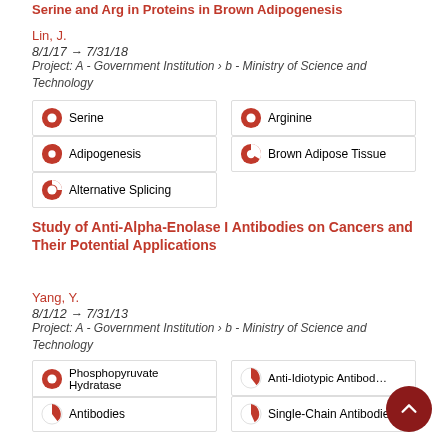Serine and Arginine-Rich Proteins in Brown Adipogenesis
Lin, J.
8/1/17 → 7/31/18
Project: A - Government Institution › b - Ministry of Science and Technology
Serine
Arginine
Adipogenesis
Brown Adipose Tissue
Alternative Splicing
Study of Anti-Alpha-Enolase I Antibodies on Cancers and Their Potential Applications
Yang, Y.
8/1/12 → 7/31/13
Project: A - Government Institution › b - Ministry of Science and Technology
Phosphopyruvate Hydratase
Anti-Idiotypic Antibodies
Antibodies
Single-Chain Antibodies